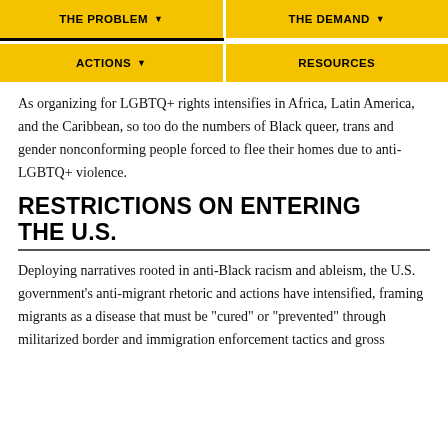THE PROBLEM
THE DEMAND
ACTIONS
RESOURCES
As organizing for LGBTQ+ rights intensifies in Africa, Latin America, and the Caribbean, so too do the numbers of Black queer, trans and gender nonconforming people forced to flee their homes due to anti-LGBTQ+ violence.
RESTRICTIONS ON ENTERING THE U.S.
Deploying narratives rooted in anti-Black racism and ableism, the U.S. government’s anti-migrant rhetoric and actions have intensified, framing migrants as a disease that must be “cured” or “prevented” through militarized border and immigration enforcement tactics and gross